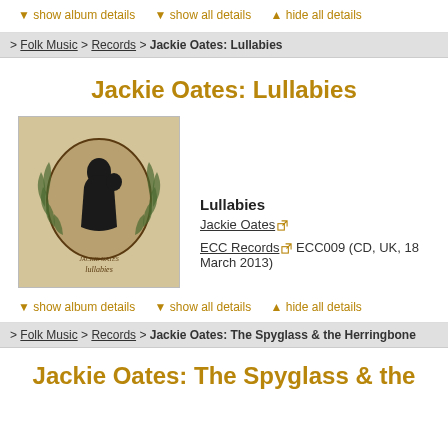▼ show album details  ▼ show all details  ▲ hide all details
> Folk Music > Records > Jackie Oates: Lullabies
Jackie Oates: Lullabies
[Figure (illustration): Album cover artwork for Jackie Oates Lullabies: silhouette of a figure holding a child, surrounded by a laurel wreath, on aged paper background with handwritten text 'lullabies' at bottom]
Lullabies
Jackie Oates
ECC Records  ECC009 (CD, UK, 18 March 2013)
▼ show album details  ▼ show all details  ▲ hide all details
> Folk Music > Records > Jackie Oates: The Spyglass & the Herringbone
Jackie Oates: The Spyglass & the